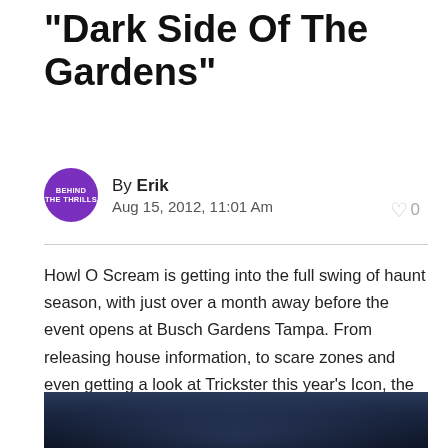“Dark Side Of The Gardens”
By Erik
Aug 15, 2012, 11:01 Am
Howl O Scream is getting into the full swing of haunt season, with just over a month away before the event opens at Busch Gardens Tampa. From releasing house information, to scare zones and even getting a look at Trickster this year’s Icon, the park has been very busy. Now the Dark Side of the Gardens is opened once again as Trickster takes to the commercials.
[Figure (photo): Dark atmospheric photo related to Howl O Scream event at Busch Gardens Tampa]